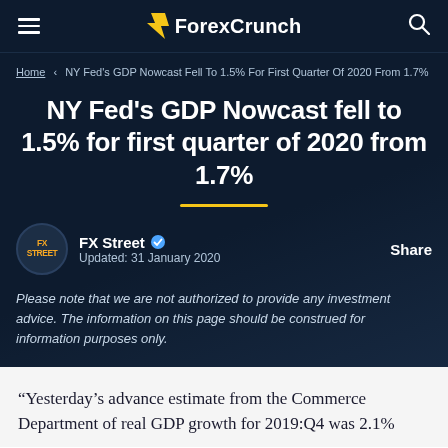ForexCrunch
Home > NY Fed's GDP Nowcast Fell To 1.5% For First Quarter Of 2020 From 1.7%
NY Fed's GDP Nowcast fell to 1.5% for first quarter of 2020 from 1.7%
FX Street | Updated: 31 January 2020 | Share
Please note that we are not authorized to provide any investment advice. The information on this page should be construed for information purposes only.
“Yesterday’s advance estimate from the Commerce Department of real GDP growth for 2019:Q4 was 2.1%